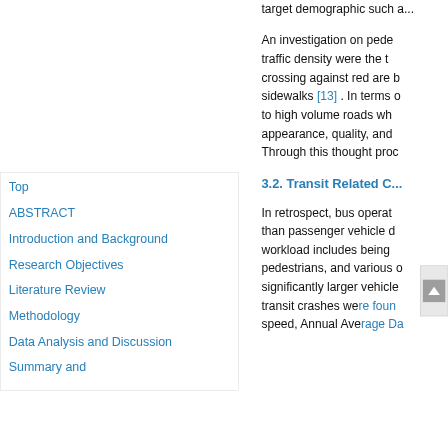target demographic such a...
An investigation on pede... traffic density were the t... crossing against red are b... sidewalks [13] . In terms o... to high volume roads wh... appearance, quality, and ... Through this thought proc...
3.2. Transit Related C...
In retrospect, bus operat... than passenger vehicle d... workload includes being ... pedestrians, and various ... significantly larger vehicle... transit crashes we re foun... speed, Annual Avérage Da...
Top
ABSTRACT
Introduction and Background
Research Objectives
Literature Review
Methodology
Data Analysis and Discussion
Summary and